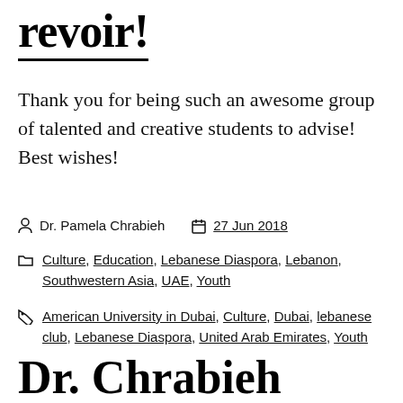revoir!
Thank you for being such an awesome group of talented and creative students to advise! Best wishes!
Author: Dr. Pamela Chrabieh  Date: 27 Jun 2018
Categories: Culture, Education, Lebanese Diaspora, Lebanon, Southwestern Asia, UAE, Youth
Tags: American University in Dubai, Culture, Dubai, lebanese club, Lebanese Diaspora, United Arab Emirates, Youth
Dr. Chrabieh